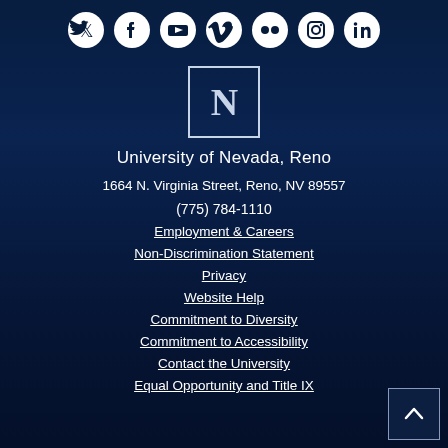[Figure (other): Social media icons row: Twitter, Facebook, YouTube, Vimeo, Flickr, Instagram, LinkedIn — white icons on dark blue background]
[Figure (logo): University of Nevada, Reno logo — block letter N in a square border]
University of Nevada, Reno
1664 N. Virginia Street, Reno, NV 89557
(775) 784-1110
Employment & Careers
Non-Discrimination Statement
Privacy
Website Help
Commitment to Diversity
Commitment to Accessibility
Contact the University
Equal Opportunity and Title IX